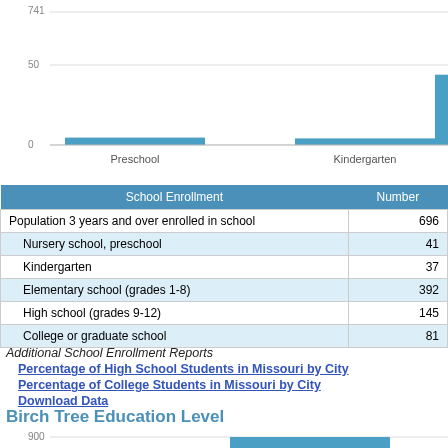[Figure (bar-chart): School Enrollment (partial top)]
| School Enrollment | Number |
| --- | --- |
| Population 3 years and over enrolled in school | 696 |
| Nursery school, preschool | 41 |
| Kindergarten | 37 |
| Elementary school (grades 1-8) | 392 |
| High school (grades 9-12) | 145 |
| College or graduate school | 81 |
Additional School Enrollment Reports
Percentage of High School Students in Missouri by City
Percentage of College Students in Missouri by City
Download Data
Birch Tree Education Level
[Figure (bar-chart): Birch Tree Education Level]